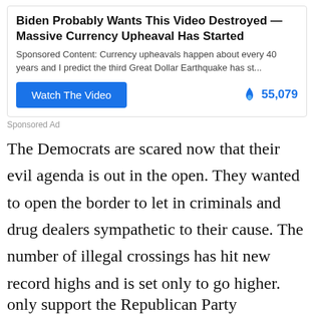[Figure (other): Sponsored ad box with title 'Biden Probably Wants This Video Destroyed — Massive Currency Upheaval Has Started', description text, Watch The Video button, and fire icon with count 55,079]
Sponsored Ad
The Democrats are scared now that their evil agenda is out in the open. They wanted to open the border to let in criminals and drug dealers sympathetic to their cause. The number of illegal crossings has hit new record highs and is set only to go higher. Biden and his staff have no intention of stopping the flow for people that do not need asylum. He has only told the Cubans that they cannot come because they would only support the Republican Party